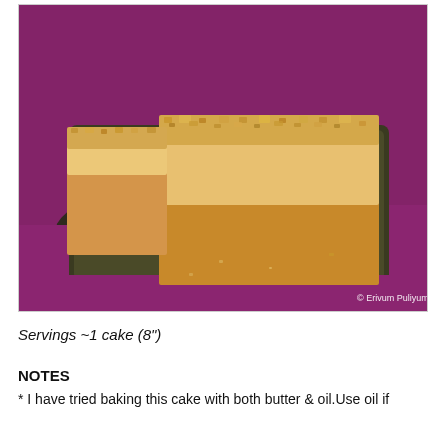[Figure (photo): Photo of square cake slices with a crumbly golden-brown topping, served on a dark olive/black rectangular plate placed on a purple textured surface. Watermark reads '© Erivum Puliyum'.]
Servings ~1 cake (8")
NOTES
* I have tried baking this cake with both butter & oil.Use oil if